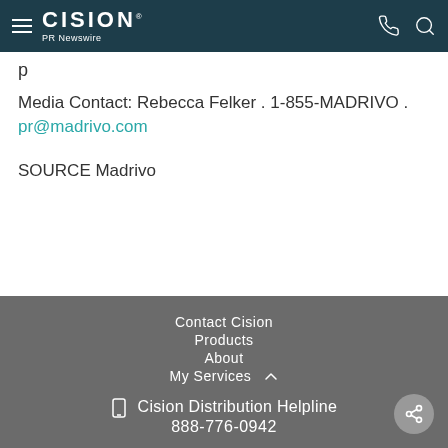CISION PR Newswire
Media Contact: Rebecca Felker . 1-855-MADRIVO . pr@madrivo.com
SOURCE Madrivo
Contact Cision
Products
About
My Services
Cision Distribution Helpline
888-776-0942